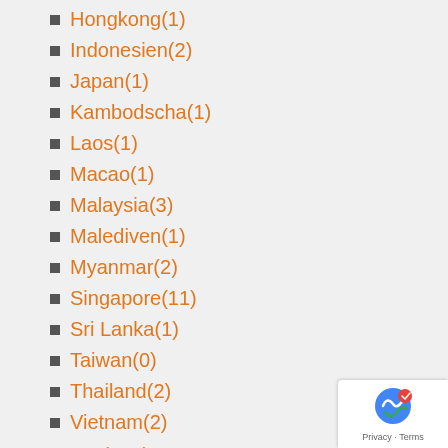Hongkong(1)
Indonesien(2)
Japan(1)
Kambodscha(1)
Laos(1)
Macao(1)
Malaysia(3)
Malediven(1)
Myanmar(2)
Singapore(11)
Sri Lanka(1)
Taiwan(0)
Thailand(2)
Vietnam(2)
Europa(383)
Albanien(2)
Belgien(1)
Dänemark(1)
Deutschland(310)